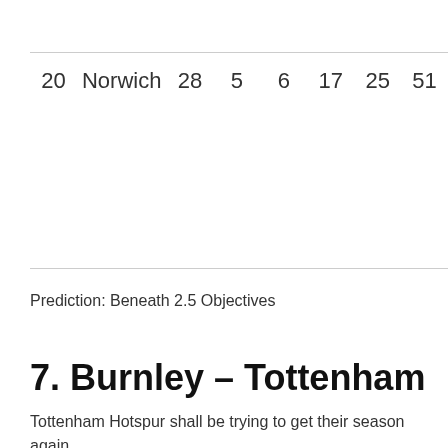| 20 | Norwich | 28 | 5 | 6 | 17 | 25 | 51 |
Prediction: Beneath 2.5 Objectives
7. Burnley – Tottenham
Tottenham Hotspur shall be trying to get their season again on observe after they face Burnley at Turf Moor in